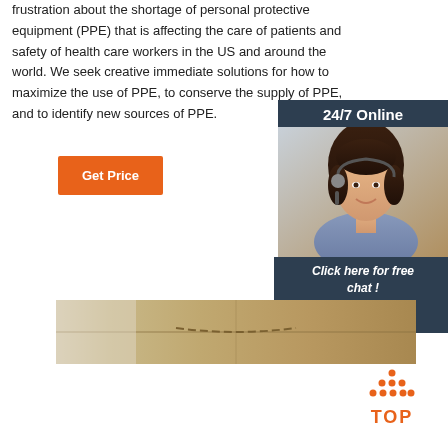frustration about the shortage of personal protective equipment (PPE) that is affecting the care of patients and safety of health care workers in the US and around the world. We seek creative immediate solutions for how to maximize the use of PPE, to conserve the supply of PPE, and to identify new sources of PPE.
[Figure (screenshot): Orange 'Get Price' button]
[Figure (infographic): 24/7 Online chat widget with customer service representative photo, 'Click here for free chat!' text, and orange QUOTATION button]
[Figure (photo): Close-up photo of tan/beige fabric with stitching]
[Figure (infographic): Orange TOP button with dot pattern arrow pointing up]